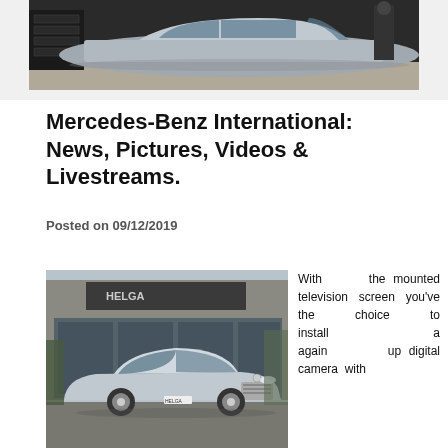[Figure (photo): A silver car in a garage/workshop setting with a person working in the background, seen from the rear three-quarter angle]
Mercedes-Benz International: News, Pictures, Videos & Livestreams.
Posted on 09/12/2019
[Figure (photo): A silver Mercedes-Benz E-Class sedan parked in front of a modern dealership or building with large glass windows]
With the mounted television screen you've the choice to install a again up digital camera with